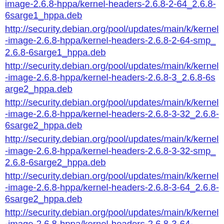image-2.6.8-hppa/kernel-headers-2.6.8-2-64_2.6.8-6sarge1_hppa.deb
http://security.debian.org/pool/updates/main/k/kernel-image-2.6.8-hppa/kernel-headers-2.6.8-2-64-smp_2.6.8-6sarge1_hppa.deb
http://security.debian.org/pool/updates/main/k/kernel-image-2.6.8-hppa/kernel-headers-2.6.8-3_2.6.8-6sarge2_hppa.deb
http://security.debian.org/pool/updates/main/k/kernel-image-2.6.8-hppa/kernel-headers-2.6.8-3-32_2.6.8-6sarge2_hppa.deb
http://security.debian.org/pool/updates/main/k/kernel-image-2.6.8-hppa/kernel-headers-2.6.8-3-32-smp_2.6.8-6sarge2_hppa.deb
http://security.debian.org/pool/updates/main/k/kernel-image-2.6.8-hppa/kernel-headers-2.6.8-3-64_2.6.8-6sarge2_hppa.deb
http://security.debian.org/pool/updates/main/k/kernel-image-2.6.8-hppa/kernel-headers-2.6.8-3-64-